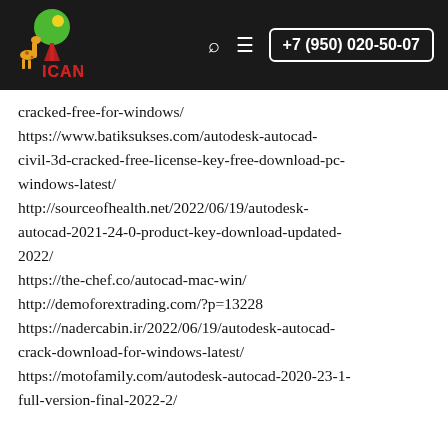[Figure (logo): ICAN logo with giraffe and green tree on dark background, with search icon, menu icon, and phone number +7 (950) 020-50-07]
cracked-free-for-windows/
https://www.batiksukses.com/autodesk-autocad-civil-3d-cracked-free-license-key-free-download-pc-windows-latest/
http://sourceofhealth.net/2022/06/19/autodesk-autocad-2021-24-0-product-key-download-updated-2022/
https://the-chef.co/autocad-mac-win/
http://demoforextrading.com/?p=13228
https://nadercabin.ir/2022/06/19/autodesk-autocad-crack-download-for-windows-latest/
https://motofamily.com/autodesk-autocad-2020-23-1-full-version-final-2022-2/